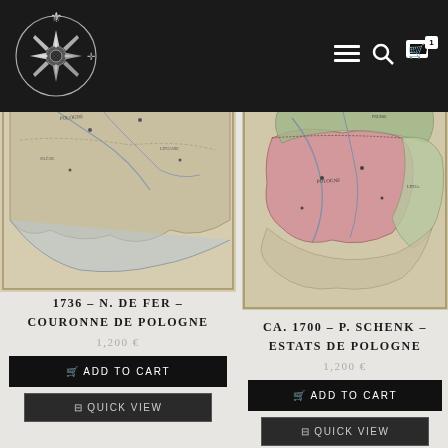[Figure (screenshot): Website navigation bar with compass rose logo on dark background, hamburger menu, search icon, and cart icon with badge showing 1]
[Figure (photo): Antique map: 1736 N. de Fer – Couronne de Pologne, historical map of Poland]
1736 – N. DE FER – COURONNE DE POLOGNE
1,200 €
[Figure (photo): Antique map: ca. 1700 P. Schenk – Estats de Pologne, historical map of Poland with colored regions]
CA. 1700 – P. SCHENK – ESTATS DE POLOGNE
1,200 €